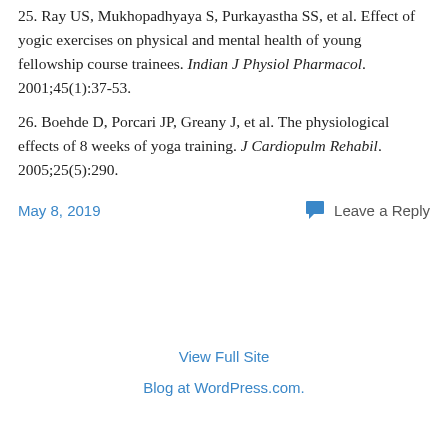25. Ray US, Mukhopadhyaya S, Purkayastha SS, et al. Effect of yogic exercises on physical and mental health of young fellowship course trainees. Indian J Physiol Pharmacol. 2001;45(1):37-53.
26. Boehde D, Porcari JP, Greany J, et al. The physiological effects of 8 weeks of yoga training. J Cardiopulm Rehabil. 2005;25(5):290.
May 8, 2019    Leave a Reply
View Full Site
Blog at WordPress.com.